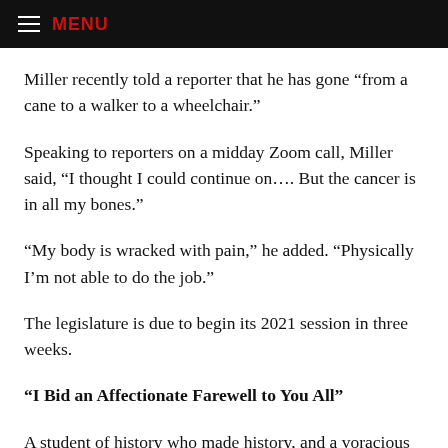≡ MENU
Miller recently told a reporter that he has gone “from a cane to a walker to a wheelchair.”
Speaking to reporters on a midday Zoom call, Miller said, “I thought I could continue on…. But the cancer is in all my bones.”
“My body is wracked with pain,” he added. “Physically I’m not able to do the job.”
The legislature is due to begin its 2021 session in three weeks.
“I Bid an Affectionate Farewell to You All”
A student of history who made history, and a voracious reader (the walls of his study are lined with the hundreds